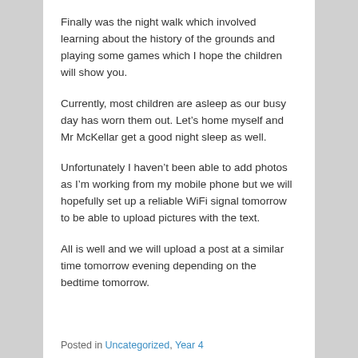Finally was the night walk which involved learning about the history of the grounds and playing some games which I hope the children will show you.
Currently, most children are asleep as our busy day has worn them out. Let’s home myself and Mr McKellar get a good night sleep as well.
Unfortunately I haven’t been able to add photos as I’m working from my mobile phone but we will hopefully set up a reliable WiFi signal tomorrow to be able to upload pictures with the text.
All is well and we will upload a post at a similar time tomorrow evening depending on the bedtime tomorrow.
Posted in Uncategorized, Year 4